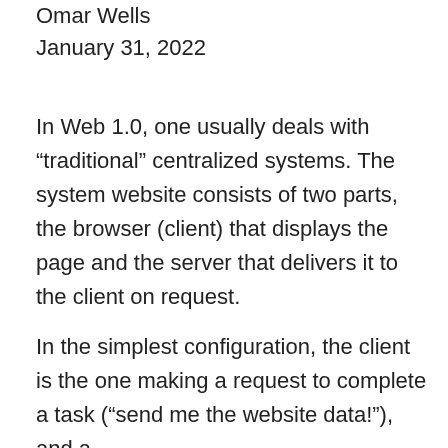Omar Wells
January 31, 2022
In Web 1.0, one usually deals with “traditional” centralized systems. The system website consists of two parts, the browser (client) that displays the page and the server that delivers it to the client on request.
In the simplest configuration, the client is the one making a request to complete a task (“send me the website data!”), and a